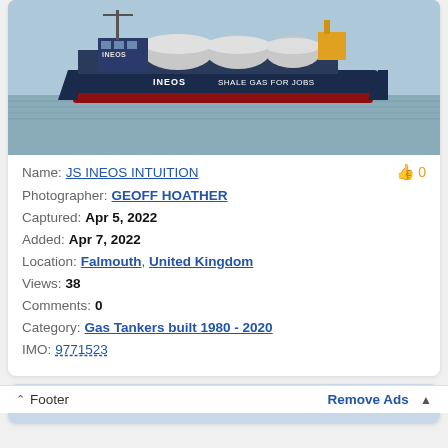[Figure (photo): INEOS ship named 'JS INEOS INTUITION' with text 'INEOS' and 'SHALE GAS FOR JOBS' on hull, photographed on water]
Name: JS INEOS INTUITION  👍 0
Photographer: GEOFF HOATHER
Captured: Apr 5, 2022
Added: Apr 7, 2022
Location: Falmouth, United Kingdom
Views: 38
Comments: 0
Category: Gas Tankers built 1980 - 2020
IMO: 9771523
Footer  Remove Ads